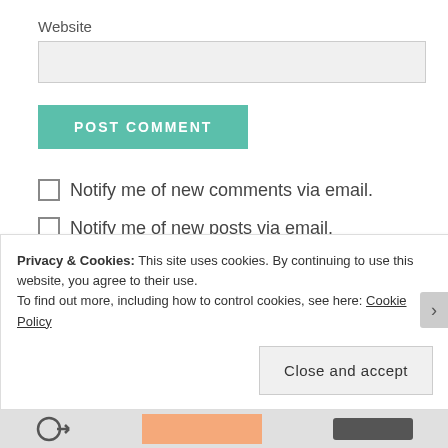Website
POST COMMENT
Notify me of new comments via email.
Notify me of new posts via email.
This site uses Akismet to reduce spam. Learn how
Privacy & Cookies: This site uses cookies. By continuing to use this website, you agree to their use.
To find out more, including how to control cookies, see here: Cookie Policy
Close and accept